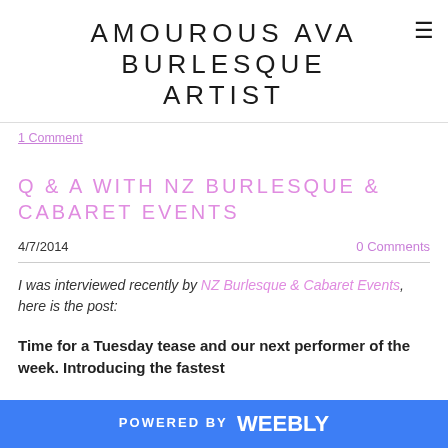AMOUROUS AVA BURLESQUE ARTIST
1 Comment
Q & A WITH NZ BURLESQUE & CABARET EVENTS
4/7/2014    0 Comments
I was interviewed recently by NZ Burlesque & Cabaret Events, here is the post:
Time for a Tuesday tease and our next performer of the week. Introducing the fastest
POWERED BY weebly